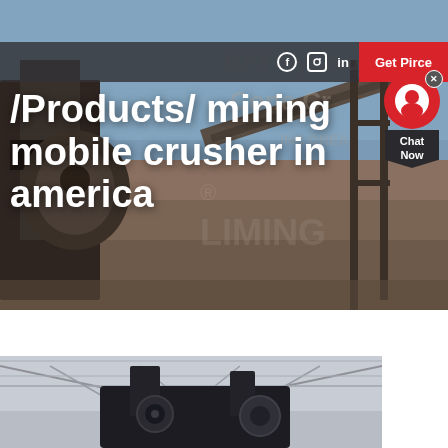[Figure (photo): Hero background photo of mining/crushing plant equipment with conveyor belts and industrial machinery]
Get Pirce
/Products/ mining mobile crusher in america
[Figure (photo): Bottom photo showing industrial equipment inside a building with roof trusses visible]